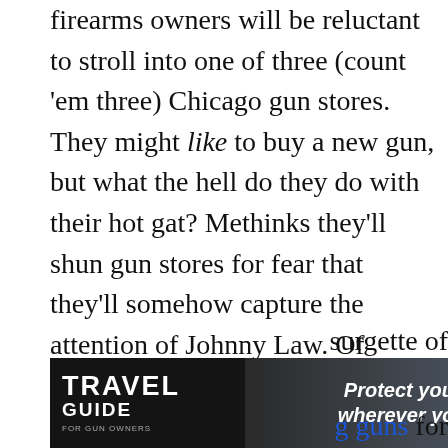firearms owners will be reluctant to stroll into one of three (count 'em three) Chicago gun stores. They might like to buy a new gun, but what the hell do they do with their hot gat? Methinks they'll shun gun stores for fear that they'll somehow capture the attention of Johnny Law. Of course, there's always Chicago's no-questions-asked gun buy-back program. But the 2010 version finished last month. So it's wait 'til next year.

Unless you're wealthy, when time is always on
[Figure (photo): Travel Guide for Gun Owners advertisement banner with text 'Protect yourself wherever you go.' and arrows, U.S. LawShield branding, dark background with light blue gradient]
surgette of
g guns for